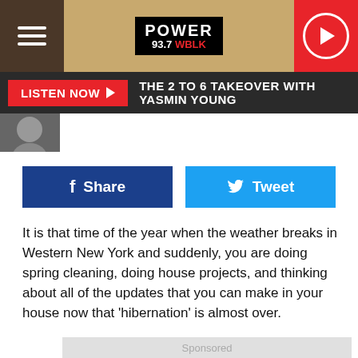POWER 93.7 WBLK
LISTEN NOW ▶  THE 2 TO 6 TAKEOVER WITH YASMIN YOUNG
[Figure (screenshot): Facebook Share button and Twitter Tweet button]
It is that time of the year when the weather breaks in Western New York and suddenly, you are doing spring cleaning, doing house projects, and thinking about all of the updates that you can make in your house now that 'hibernation' is almost over.
[Figure (screenshot): Sponsored video thumbnail: Scorey Interview - Signing to Polo... with play button overlay]